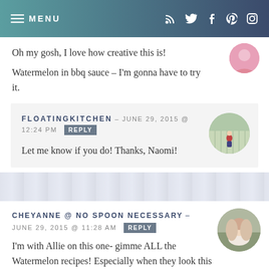MENU (navigation bar with social icons)
Oh my gosh, I love how creative this is!
Watermelon in bbq sauce – I'm gonna have to try it.
FLOATINGKITCHEN – JUNE 29, 2015 @ 12:24 PM REPLY
Let me know if you do! Thanks, Naomi!
[Figure (photo): Circular avatar photo of person standing in a greenhouse/field]
CHEYANNE @ NO SPOON NECESSARY – JUNE 29, 2015 @ 11:28 AM REPLY
I'm with Allie on this one- gimme ALL the Watermelon recipes! Especially when they look this dang
[Figure (photo): Circular avatar photo of smiling woman]